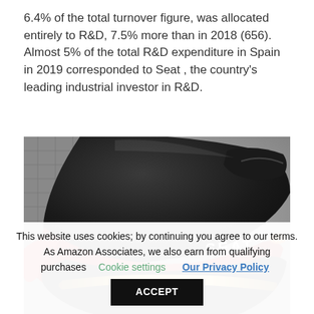6.4% of the total turnover figure, was allocated entirely to R&D, 7.5% more than in 2018 (656). Almost 5% of the total R&D expenditure in Spain in 2019 corresponded to Seat , the country's leading industrial investor in R&D.
[Figure (photo): Close-up rear view of a red and black SEAT motorcycle or scooter, showing the rear fairing with SEAT logo, tail light, and red bodywork.]
This website uses cookies; by continuing you agree to our terms. As Amazon Associates, we also earn from qualifying purchases   Cookie settings   Our Privacy Policy   ACCEPT